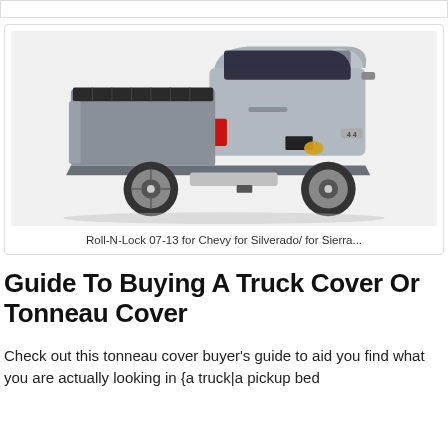[Figure (photo): Silver Chevrolet Silverado pickup truck with a Roll-N-Lock tonneau cover on the truck bed, shown from a rear three-quarter angle]
Roll-N-Lock 07-13 for Chevy for Silverado/ for Sierra...
Guide To Buying A Truck Cover Or Tonneau Cover
Check out this tonneau cover buyer's guide to aid you find what you are actually looking in {a truck|a pickup bed